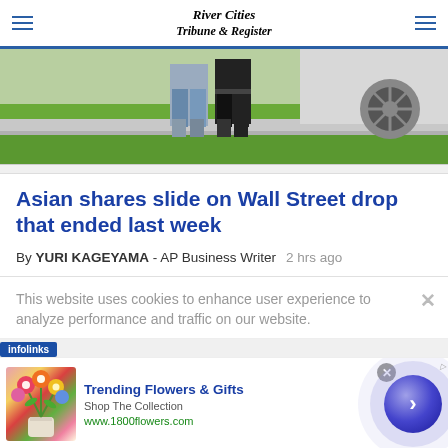River Cities Tribune & Register
[Figure (photo): Two people walking together on a sidewalk near grass, with a car visible in the background]
Asian shares slide on Wall Street drop that ended last week
By YURI KAGEYAMA - AP Business Writer   2 hrs ago
This website uses cookies to enhance user experience to analyze performance and traffic on our website.
[Figure (advertisement): Infolinks ad banner: Trending Flowers & Gifts - Shop The Collection - www.1800flowers.com, with flower image and blue arrow button]